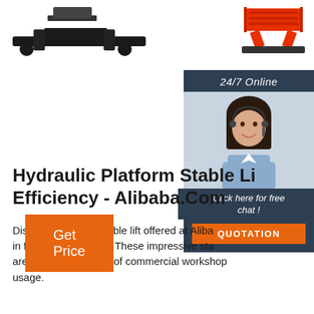[Figure (illustration): Two industrial machines: a large wheeled boom lift (left) and a red scissor lift platform (right), partially cropped at the top of the page]
[Figure (infographic): 24/7 Online chat widget showing a female customer service representative wearing a headset, with 'Click here for free chat!' text and an orange QUOTATION button]
Hydraulic Platform Stable Li Efficiency - Alibaba.Com
Discover amazing stable lift offered at Alibaba in fascinating ranges. These impressive sta are ideal for a variety of commercial workshop usage.
Get Price